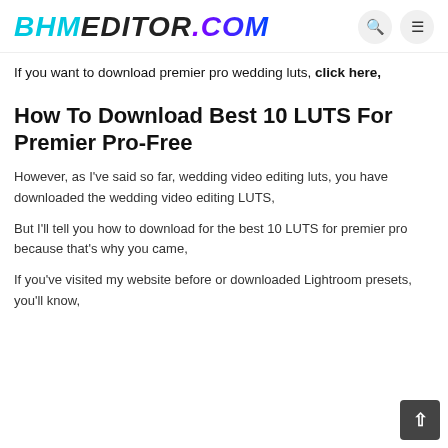BHMEDITOR.COM
If you want to download premier pro wedding luts, click here,
How To Download Best 10 LUTS For Premier Pro-Free
However, as I've said so far, wedding video editing luts, you have downloaded the wedding video editing LUTS,
But I'll tell you how to download for the best 10 LUTS for premier pro because that's why you came,
If you've visited my website before or downloaded Lightroom presets, you'll know,